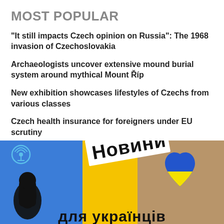MOST POPULAR
“It still impacts Czech opinion on Russia”: The 1968 invasion of Czechoslovakia
Archaeologists uncover extensive mound burial system around mythical Mount Říp
New exhibition showcases lifestyles of Czechs from various classes
Czech health insurance for foreigners under EU scrutiny
[Figure (illustration): Promotional banner for a Ukrainian-language news podcast. Blue background on left with podcast icon and microphone silhouette; yellow center stripe with rotated white label reading 'Новини'; tan/brown right section with blue and yellow Ukrainian flag heart. Bold black text at bottom reading 'для українців']